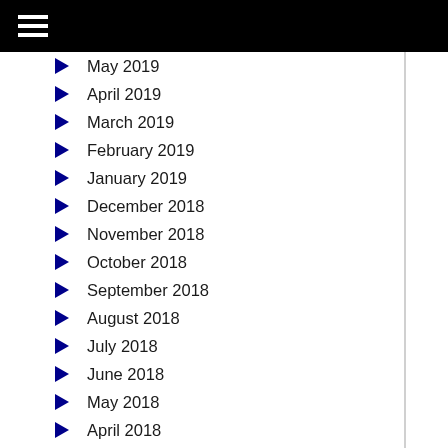May 2019
April 2019
March 2019
February 2019
January 2019
December 2018
November 2018
October 2018
September 2018
August 2018
July 2018
June 2018
May 2018
April 2018
March 2018